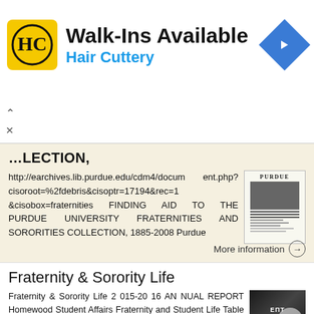[Figure (screenshot): Advertisement banner for Hair Cuttery with logo, Walk-Ins Available text, and navigation icon]
FRATERNITIES AND SORORITIES COLLECTION,
http://earchives.lib.purdue.edu/cdm4/document.php?cisoroot=%2fdebris&cisoptr=17194&rec=1&cisobox=fraternities FINDING AID TO THE PURDUE UNIVERSITY FRATERNITIES AND SORORITIES COLLECTION, 1885-2008 Purdue
More information →
Fraternity & Sorority Life
Fraternity & Sorority Life 2 015-20 16 AN NUAL REPORT Homewood Student Affairs Fraternity and Student Life Table of Contents Letter from the Staff 1 2 3 3 3 4 4